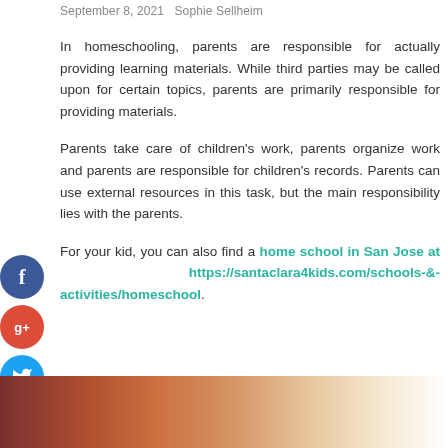September 8, 2021   Sophie Sellheim
In homeschooling, parents are responsible for actually providing learning materials. While third parties may be called upon for certain topics, parents are primarily responsible for providing materials.
Parents take care of children's work, parents organize work and parents are responsible for children's records. Parents can use external resources in this task, but the main responsibility lies with the parents.
For your kid, you can also find a home school in San Jose at https://santaclara4kids.com/schools-&-activities/homeschool.
[Figure (photo): Partial view of a colorful image at the bottom of the page, showing warm tones of red, orange and beige.]